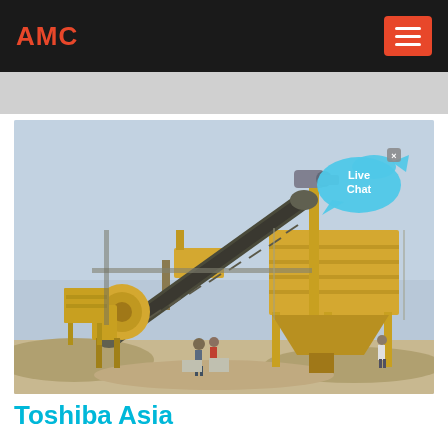AMC
[Figure (photo): Industrial mining/crushing plant with yellow conveyor belt and processing equipment, workers visible in foreground on sandy terrain, with a 'Live Chat' speech bubble overlay in the top-right corner of the image.]
Toshiba Asia